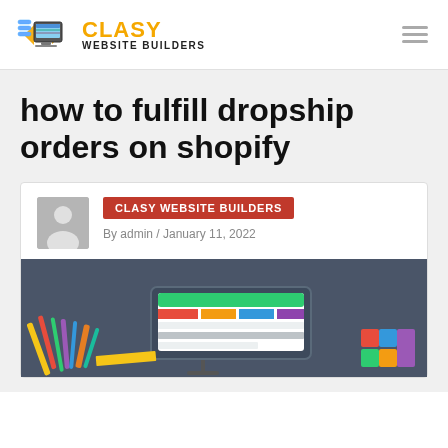CLASY WEBSITE BUILDERS
how to fulfill dropship orders on shopify
CLASY WEBSITE BUILDERS
By admin / January 11, 2022
[Figure (illustration): Illustration of a desktop computer monitor showing a colorful website layout with design tools and color swatches around it on a dark grey background]